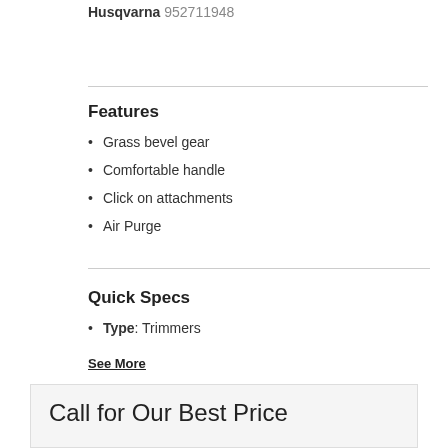Husqvarna 952711948
Features
Grass bevel gear
Comfortable handle
Click on attachments
Air Purge
Quick Specs
Type: Trimmers
See More
Call for Our Best Price
- 1 +
Request Quote